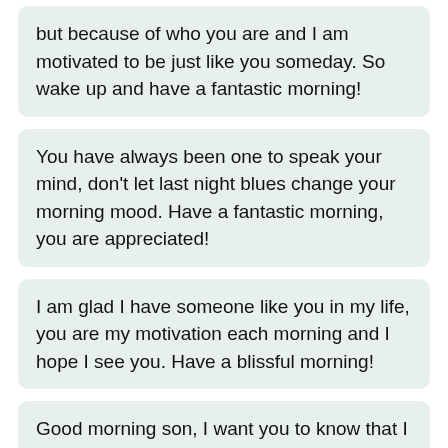but because of who you are and I am motivated to be just like you someday. So wake up and have a fantastic morning!
You have always been one to speak your mind, don't let last night blues change your morning mood. Have a fantastic morning, you are appreciated!
I am glad I have someone like you in my life, you are my motivation each morning and I hope I see you. Have a blissful morning!
Good morning son, I want you to know that I won't accept anything from you other than the